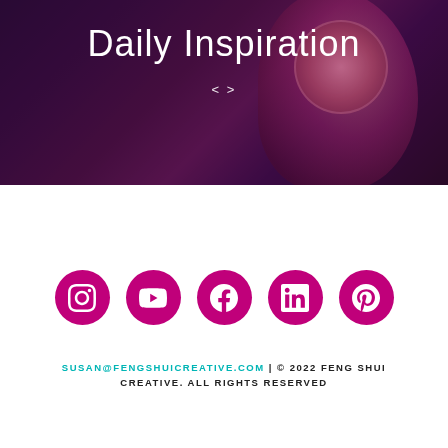[Figure (photo): Hero banner image with dark purple/magenta tones showing hands holding decorative coins, with 'Daily Inspiration' text and a diamond/arrow icon overlay]
Daily Inspiration
[Figure (infographic): Five pink/magenta circular social media icons in a row: Instagram, YouTube, Facebook, LinkedIn, Pinterest]
SUSAN@FENGSHUICREATIVE.COM | © 2022 FENG SHUI CREATIVE. ALL RIGHTS RESERVED